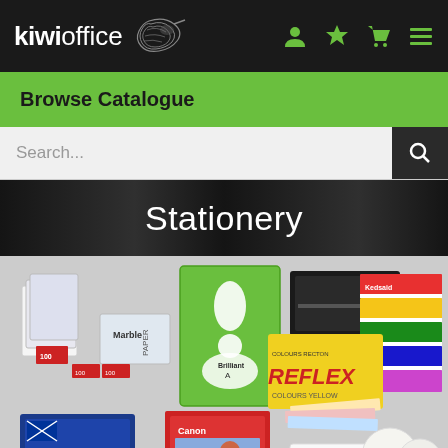[Figure (screenshot): Kiwi Office website header with logo, navigation icons (user, star, cart, menu) on black background]
Browse Catalogue
Search...
Stationery
[Figure (photo): Product image showing various paper products including Marble paper, Brilliant A paper (green cover), Reflex coloured paper (yellow), Kedsaid stacked coloured paper reams, Reflex blue ream, Canon photo paper, Color Copy paper, and thermal rolls on grey background]